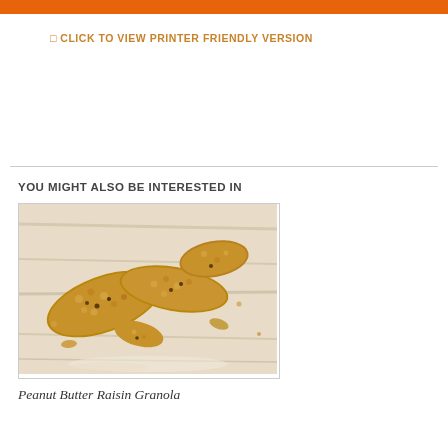⊡ CLICK TO VIEW PRINTER FRIENDLY VERSION
YOU MIGHT ALSO BE INTERESTED IN
[Figure (photo): Photo of peanut butter raisin granola bars broken into pieces on a white wooden surface]
Peanut Butter Raisin Granola